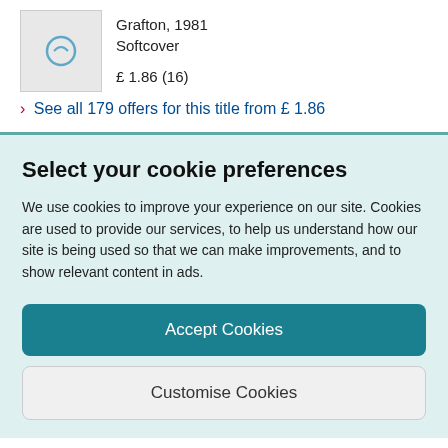Grafton, 1981
Softcover
£ 1.86 (16)
› See all 179 offers for this title from £ 1.86
Select your cookie preferences
We use cookies to improve your experience on our site. Cookies are used to provide our services, to help us understand how our site is being used so that we can make improvements, and to show relevant content in ads.
Accept Cookies
Customise Cookies